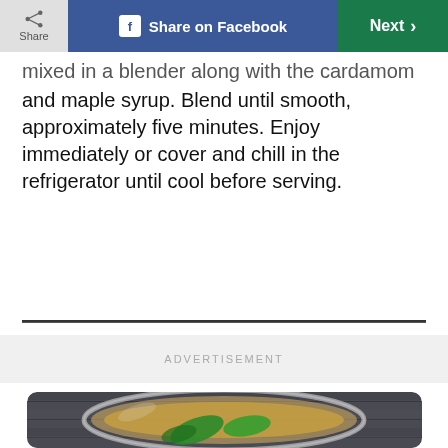Share | Share on Facebook | Next
mixed in a blender along with the cardamom and maple syrup. Blend until smooth, approximately five minutes. Enjoy immediately or cover and chill in the refrigerator until cool before serving.
ADVERTISEMENT
[Figure (photo): Top-down photo of a glass jar containing a yellow/golden smoothie drink with fresh green basil leaves, set on a rustic dark wooden surface.]